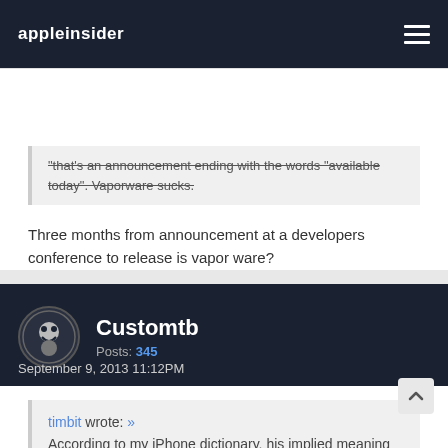appleinsider
"available today". Vaporware sucks.
Three months from announcement at a developers conference to release is vapor ware?
Customtb
Posts: 345
September 9, 2013 11:12PM
timbit wrote: »
According to my iPhone dictionary, his implied meaning is correct.
Time for a new dictionary. Vaporware typically refers to products that are announced but never produced or released.